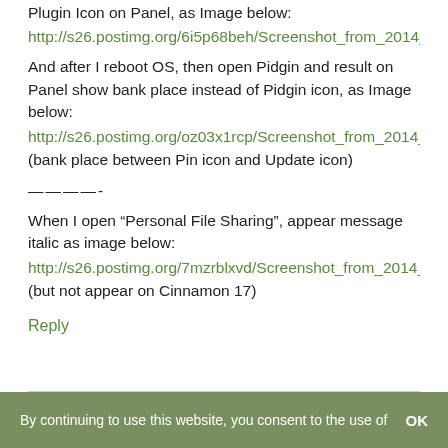Plugin Icon on Panel, as Image below:
http://s26.postimg.org/6i5p68beh/Screenshot_from_2014_
And after I reboot OS, then open Pidgin and result on Panel show bank place instead of Pidgin icon, as Image below:
http://s26.postimg.org/oz03x1rcp/Screenshot_from_2014_
(bank place between Pin icon and Update icon)
————-
When I open “Personal File Sharing”, appear message italic as image below:
http://s26.postimg.org/7mzrblxvd/Screenshot_from_2014_
(but not appear on Cinnamon 17)
Reply
By continuing to use this website, you consent to the use of   OK